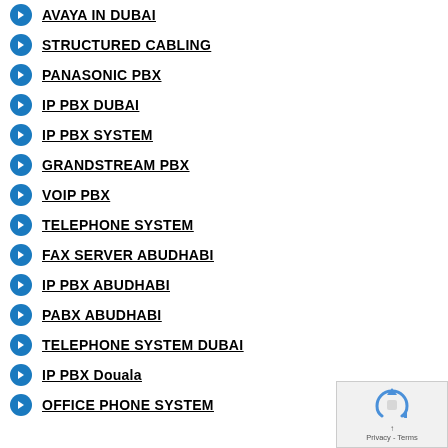AVAYA IN DUBAI
STRUCTURED CABLING
PANASONIC PBX
IP PBX DUBAI
IP PBX SYSTEM
GRANDSTREAM PBX
VOIP PBX
TELEPHONE SYSTEM
FAX SERVER ABUDHABI
IP PBX ABUDHABI
PABX ABUDHABI
TELEPHONE SYSTEM DUBAI
IP PBX Douala
OFFICE PHONE SYSTEM